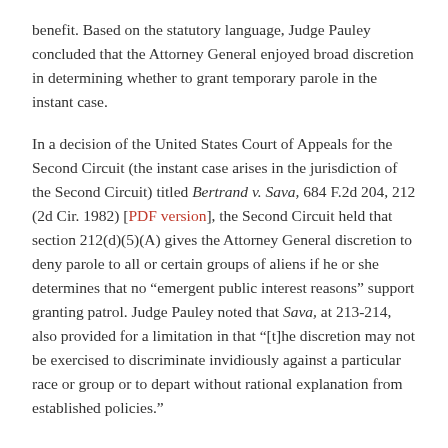benefit. Based on the statutory language, Judge Pauley concluded that the Attorney General enjoyed broad discretion in determining whether to grant temporary parole in the instant case.
In a decision of the United States Court of Appeals for the Second Circuit (the instant case arises in the jurisdiction of the Second Circuit) titled Bertrand v. Sava, 684 F.2d 204, 212 (2d Cir. 1982) [PDF version], the Second Circuit held that section 212(d)(5)(A) gives the Attorney General discretion to deny parole to all or certain groups of aliens if he or she determines that no “emergent public interest reasons” support granting patrol. Judge Pauley noted that Sava, at 213-214, also provided for a limitation in that “[t]he discretion may not be exercised to discriminate invidiously against a particular race or group or to depart without rational explanation from established policies.”